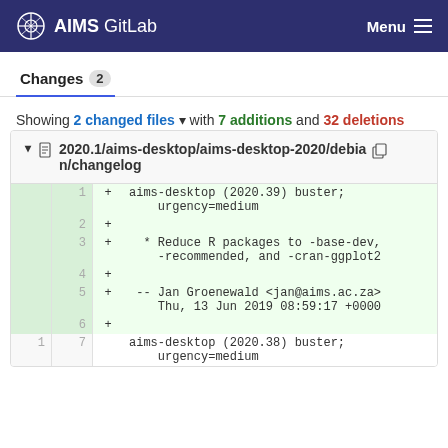AIMS GitLab  Menu
Changes 2
Showing 2 changed files with 7 additions and 32 deletions
2020.1/aims-desktop/aims-desktop-2020/debian/changelog
1  + aims-desktop (2020.39) buster; urgency=medium
2  +
3  +   * Reduce R packages to -base-dev, -recommended, and -cran-ggplot2
4  +
5  +  -- Jan Groenewald <jan@aims.ac.za>  Thu, 13 Jun 2019 08:59:17 +0000
6  +
1  7    aims-desktop (2020.38) buster; urgency=medium